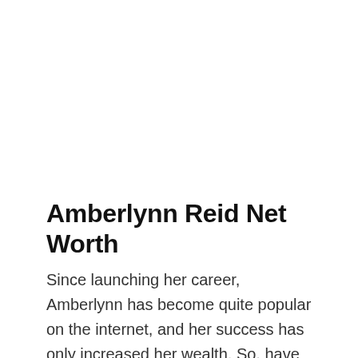Amberlynn Reid Net Worth
Since launching her career, Amberlynn has become quite popular on the internet, and her success has only increased her wealth. So, have you ever wondered how rich Amberlynn Reid is, as of mid- 2019? According to